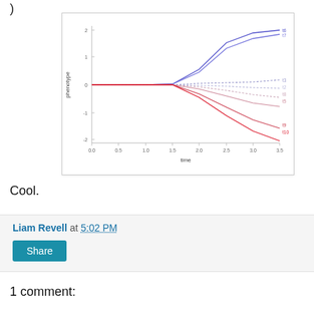)
[Figure (line-chart): Line chart showing multiple trajectories (labeled t6, t7, t3, t2, t9, t5, t9, t10) over time from 0.0 to 3.5. Lines start clustered near 0 phenotype and diverge: some blue lines go strongly positive (up to ~2), some red/pink lines go negative (down to ~-1 and lower). The lines are flat initially and then fan out after approximately time 1.5-2.0.]
Cool.
Liam Revell at 5:02 PM
Share
1 comment: